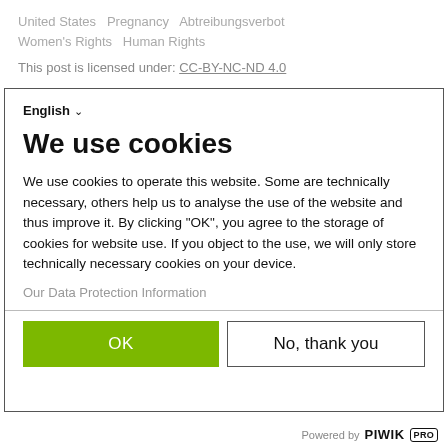United States   Pregnancy   Abtreibungsverbot
Women's Rights   Human Rights
This post is licensed under: CC-BY-NC-ND 4.0
English ▾
We use cookies
We use cookies to operate this website. Some are technically necessary, others help us to analyse the use of the website and thus improve it. By clicking "OK", you agree to the storage of cookies for website use. If you object to the use, we will only store technically necessary cookies on your device.
Our Data Protection Information
OK
No, thank you
Powered by PIWIK PRO